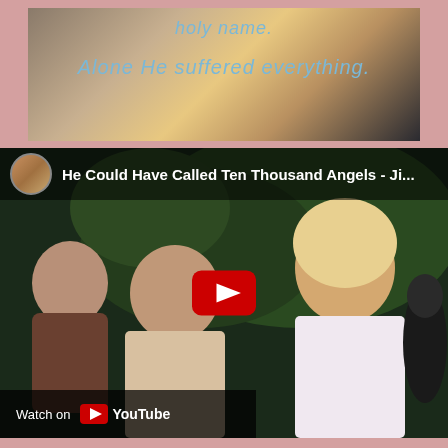[Figure (screenshot): Screenshot of a video showing religious artwork with text 'holy name.' and 'Alone He suffered everything.' overlaid on an angelic/spiritual painting with warm golden tones]
[Figure (screenshot): YouTube video embed showing 'He Could Have Called Ten Thousand Angels - Ji...' with a YouTube play button overlay, showing musicians performing outdoors, with a 'Watch on YouTube' bar at the bottom]